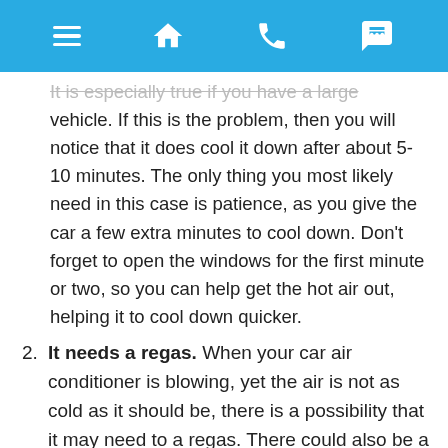[Navigation bar with menu, home, phone, and chat icons]
It is especially true if you have a large vehicle. If this is the problem, then you will notice that it does cool it down after about 5-10 minutes. The only thing you most likely need in this case is patience, as you give the car a few extra minutes to cool down. Don't forget to open the windows for the first minute or two, so you can help get the hot air out, helping it to cool down quicker.
It needs a regas. When your car air conditioner is blowing, yet the air is not as cold as it should be, there is a possibility that it may need to a regas. There could also be a leak. Either way, this is something that you will need to have serviced to address adequately.